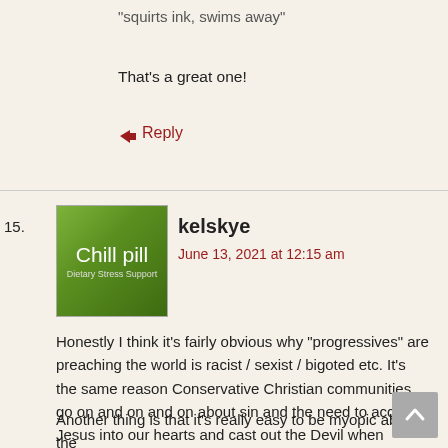“squirts ink, swims away”
That’s a great one!
Reply
15. kelskye
June 13, 2021 at 12:15 am
Honestly I think it’s fairly obvious why “progressives” are preaching the world is racist / sexist / bigoted etc. It’s the same reason Conservative Christian communities go on and on and on about sin and the need to accept Jesus into our hearts and cast out the Devil when there’s already general acceptance in that community. Humans can never live up to their Utopian ideals, so the moral community keeps reminding itself of its failures in the hopes of making things better.
Another thing is that it’s really easy to be myopic about the